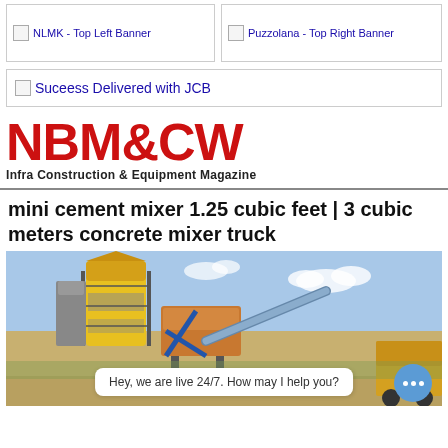[Figure (other): NLMK - Top Left Banner ad placeholder with broken image icon]
[Figure (other): Puzzolana - Top Right Banner ad placeholder with broken image icon]
[Figure (other): Suceess Delivered with JCB - wide banner ad placeholder with broken image icon]
[Figure (logo): NBM&CW logo - Infra Construction & Equipment Magazine]
mini cement mixer 1.25 cubic feet | 3 cubic meters concrete mixer truck
[Figure (photo): Photo of a concrete batching plant with yellow silos and conveyor belt. Chat bubble overlay: Hey, we are live 24/7. How may I help you?]